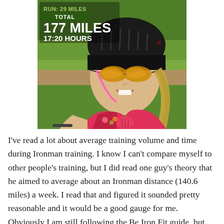[Figure (photo): Selfie photo of a woman wearing a cycling helmet and mirrored sunglasses in a pink/colorful triathlon kit, outdoors with green background. Overlaid text shows: RUN: 29 MILES / TOTAL / 177 MILES / 17:20 HOURS]
I've read a lot about average training volume and time during Ironman training. I know I can't compare myself to other people's training, but I did read one guy's theory that he aimed to average about an Ironman distance (140.6 miles) a week. I read that and figured it sounded pretty reasonable and it would be a good gauge for me. Obviously I am still following the Be Iron Fit guide, but this also gives me a good base to aim for. Also I followed the Intermediate Program